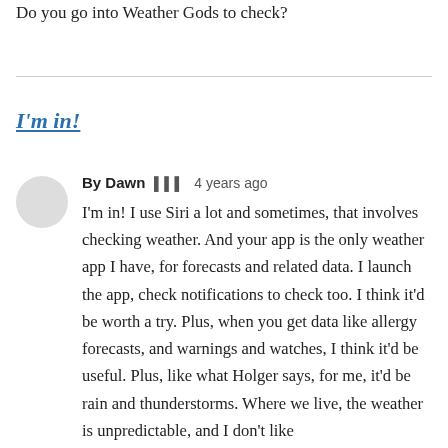Do you go into Weather Gods to check?
I'm in!
By Dawn 🗓️ 4 years ago
I'm in! I use Siri a lot and sometimes, that involves checking weather. And your app is the only weather app I have, for forecasts and related data. I launch the app, check notifications to check too. I think it'd be worth a try. Plus, when you get data like allergy forecasts, and warnings and watches, I think it'd be useful. Plus, like what Holger says, for me, it'd be rain and thunderstorms. Where we live, the weather is unpredictable, and I don't like